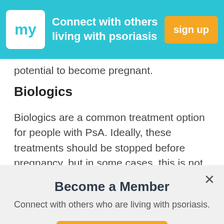[Figure (screenshot): Top banner with 'my' logo on cyan/teal background, text 'Connect with others living with psoriasis', and orange 'sign up' button]
potential to become pregnant.
Biologics
Biologics are a common treatment option for people with PsA. Ideally, these treatments should be stopped before pregnancy, but in some cases, this is not realistic. Your
[Figure (screenshot): Modal popup on gray background: 'Become a Member' title, 'Connect with others who are living with psoriasis.' subtitle, orange 'get started' button, X close button]
those made by the body's immune system. Only one
[Figure (screenshot): Ad banner at bottom: orange WATCH VIDEO button, text 'KEEP THAT HOPE,' THOSE WITH PSORIASIS SAY', sunset image with person. ADVERTISEMENT caption below.]